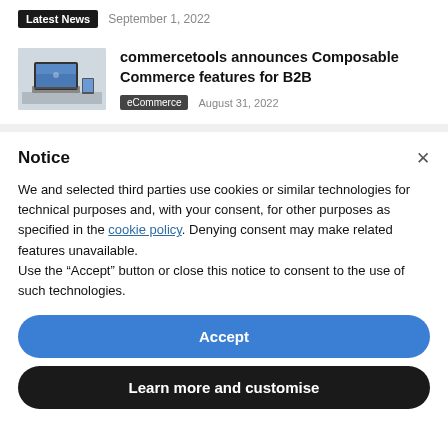Latest News   September 1, 2022
commercetools announces Composable Commerce features for B2B
eCommerce   August 31, 2022
Notice
We and selected third parties use cookies or similar technologies for technical purposes and, with your consent, for other purposes as specified in the cookie policy. Denying consent may make related features unavailable.
Use the “Accept” button or close this notice to consent to the use of such technologies.
Accept
Learn more and customise